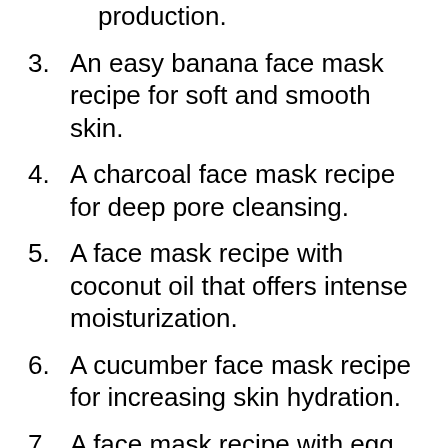production.
3. An easy banana face mask recipe for soft and smooth skin.
4. A charcoal face mask recipe for deep pore cleansing.
5. A face mask recipe with coconut oil that offers intense moisturization.
6. A cucumber face mask recipe for increasing skin hydration.
7. A face mask recipe with egg white for erasing signs of ageing and nourishing the dermal layers.
8. An egg yolk face mask recipe to deal with